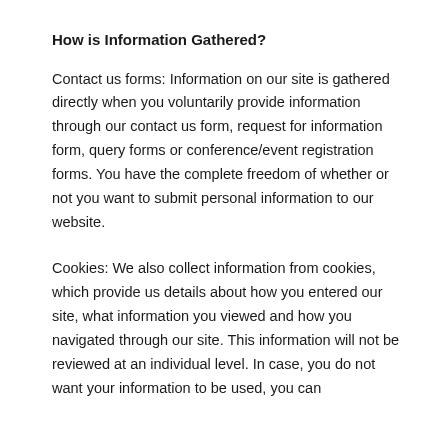How is Information Gathered?
Contact us forms: Information on our site is gathered directly when you voluntarily provide information through our contact us form, request for information form, query forms or conference/event registration forms. You have the complete freedom of whether or not you want to submit personal information to our website.
Cookies: We also collect information from cookies, which provide us details about how you entered our site, what information you viewed and how you navigated through our site. This information will not be reviewed at an individual level. In case, you do not want your information to be used, you can